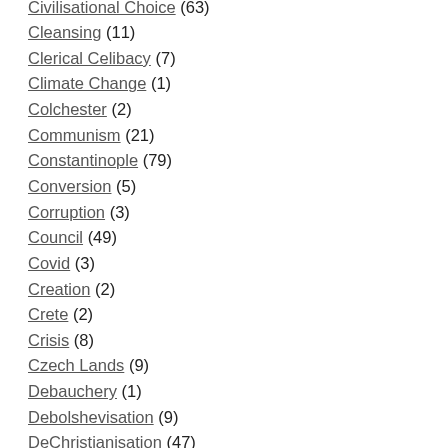Civilisational Choice (63)
Cleansing (11)
Clerical Celibacy (7)
Climate Change (1)
Colchester (2)
Communism (21)
Constantinople (79)
Conversion (5)
Corruption (3)
Council (49)
Covid (3)
Creation (2)
Crete (2)
Crisis (8)
Czech Lands (9)
Debauchery (1)
Debolshevisation (9)
DeChristianisation (47)
Decivilisation (59)